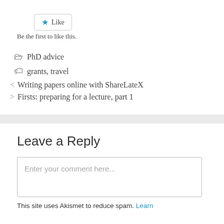[Figure (other): Like button with blue star icon and 'Like' text]
Be the first to like this.
PhD advice
grants, travel
< Writing papers online with ShareLateX
> Firsts: preparing for a lecture, part 1
Leave a Reply
Enter your comment here...
This site uses Akismet to reduce spam. Learn